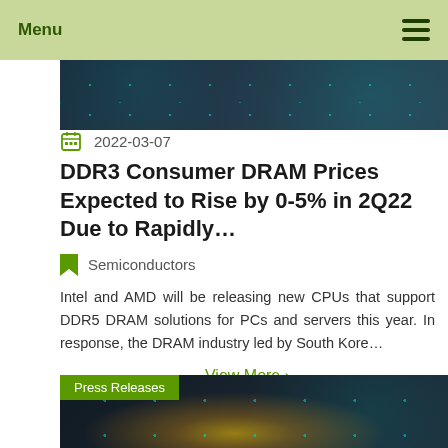Menu
[Figure (photo): Dark tech/network background image partial crop at top of article card]
2022-03-07
DDR3 Consumer DRAM Prices Expected to Rise by 0-5% in 2Q22 Due to Rapidly…
Semiconductors
Intel and AMD will be releasing new CPUs that support DDR5 DRAM solutions for PCs and servers this year. In response, the DRAM industry led by South Kore…
View More ›
[Figure (photo): Press Releases card showing a glowing light bulb held in hands against dark network/tech background]